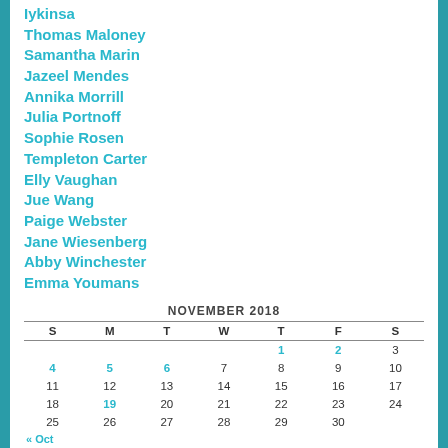Iykinsa
Thomas Maloney
Samantha Marin
Jazeel Mendes
Annika Morrill
Julia Portnoff
Sophie Rosen
Templeton Carter
Elly Vaughan
Jue Wang
Paige Webster
Jane Wiesenberg
Abby Winchester
Emma Youmans
| S | M | T | W | T | F | S |
| --- | --- | --- | --- | --- | --- | --- |
|  |  |  |  | 1 | 2 | 3 |
| 4 | 5 | 6 | 7 | 8 | 9 | 10 |
| 11 | 12 | 13 | 14 | 15 | 16 | 17 |
| 18 | 19 | 20 | 21 | 22 | 23 | 24 |
| 25 | 26 | 27 | 28 | 29 | 30 |  |
« Oct